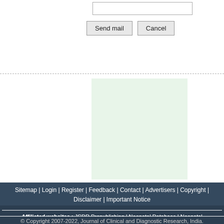[Figure (screenshot): Form area with an input text box and two buttons: 'Send mail' and 'Cancel', inside a dashed border container]
[Figure (other): Light green advertisement placeholder block]
Sitemap | Login | Register | Feedback | Contact | Advertisers | Copyright | Disclaimer | Important Notice
Affiliated websites : JCDR Prepublishing | Neonatal Database | Neonatal Database download center Premchand Shantidevi Research Foundation (PSRF, India)
© Copyright 2007-2022, Journal of Clinical and Diagnostic Research, India.